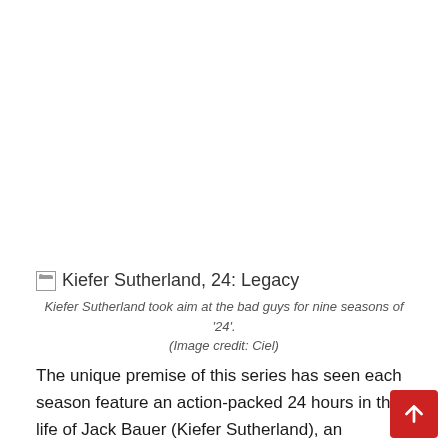[Figure (photo): Broken image placeholder for Kiefer Sutherland, 24: Legacy]
Kiefer Sutherland took aim at the bad guys for nine seasons of '24'. (Image credit: Ciel)
The unique premise of this series has seen each season feature an action-packed 24 hours in the life of Jack Bauer (Kiefer Sutherland), an American counterterrorism agent. Each episode covers an hour, with a clock displayed as the action unfolds. The first series sees Jack called upon to protect a senator from an assassination plot, as well as save his family from those responsible. Later series see him spending his days preventing a nuclear bomb from exploding in Los Angeles, infiltrating a